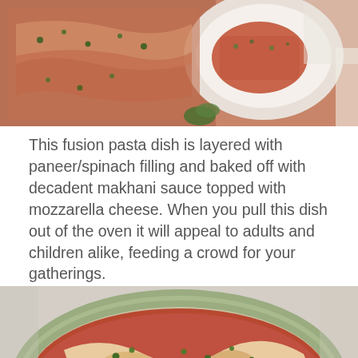[Figure (photo): Top-down view of a baking dish with lasagna/pasta and a white plate with a served portion, garnished with herbs]
This fusion pasta dish is layered with paneer/spinach filling and baked off with decadent makhani sauce topped with mozzarella cheese. When you pull this dish out of the oven it will appeal to adults and children alike, feeding a crowd for your gatherings.
[Figure (photo): Close-up overhead view of a round green baking dish filled with baked pasta topped with melted mozzarella cheese and garnished with fresh herbs]